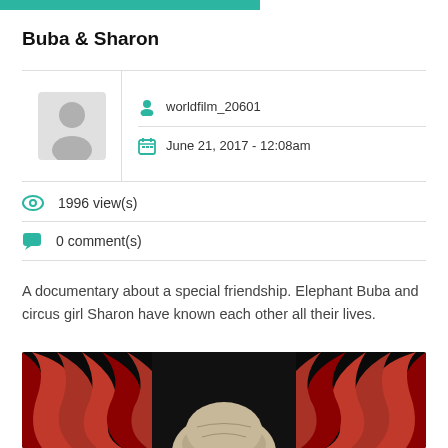Buba & Sharon
worldfilm_20601
June 21, 2017 - 12:08am
1996 view(s)
0 comment(s)
A documentary about a special friendship. Elephant Buba and circus girl Sharon have known each other all their lives.
[Figure (photo): A dramatic photo showing rich red theatrical curtains parting, with an elephant visible below against a dark background.]